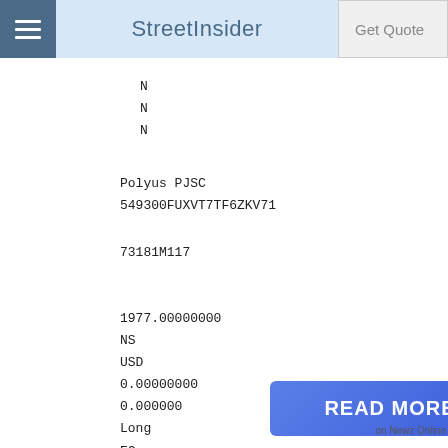StreetInsider  Get Quote
N
N
N
Polyus PJSC
549300FUXVT7TF6ZKV71
73181M117
1977.00000000
NS
USD
0.00000000
0.000000
Long
EC
CORP
RU
Y
[Figure (other): READ MORE button in blue]
on Newz Online